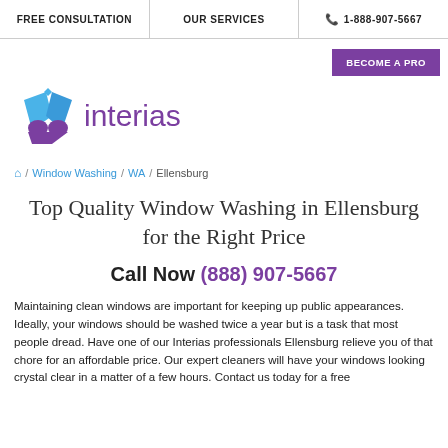FREE CONSULTATION | OUR SERVICES | 1-888-907-5667
BECOME A PRO
[Figure (logo): Interias logo with blue and purple folded paper heart icon and purple 'interias' wordmark]
/ Window Washing / WA / Ellensburg
Top Quality Window Washing in Ellensburg for the Right Price
Call Now (888) 907-5667
Maintaining clean windows are important for keeping up public appearances. Ideally, your windows should be washed twice a year but is a task that most people dread. Have one of our Interias professionals Ellensburg relieve you of that chore for an affordable price. Our expert cleaners will have your windows looking crystal clear in a matter of a few hours. Contact us today for a free